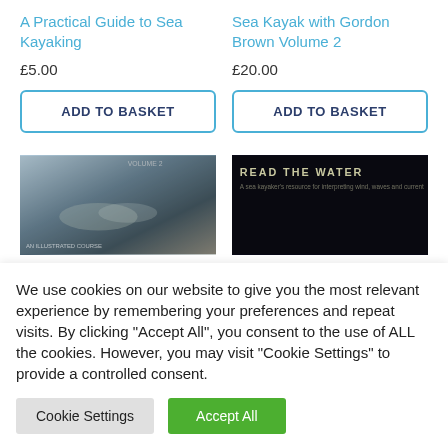A Practical Guide to Sea Kayaking
£5.00
ADD TO BASKET
Sea Kayak with Gordon Brown Volume 2
£20.00
ADD TO BASKET
[Figure (photo): Book cover: sea kayaking image with paddlers in rough water]
[Figure (photo): Book cover: dark background with text 'READ THE WATER - A sea kayaker's resource for interpreting wind, waves and current']
We use cookies on our website to give you the most relevant experience by remembering your preferences and repeat visits. By clicking "Accept All", you consent to the use of ALL the cookies. However, you may visit "Cookie Settings" to provide a controlled consent.
Cookie Settings
Accept All